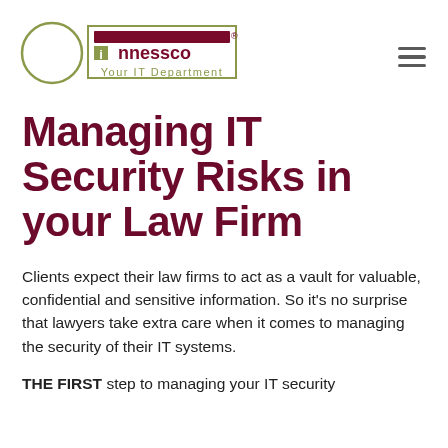[Figure (logo): Innessco logo: circle outline on left, bordered box with red bar and green 'innessco' text, tagline 'Your IT Department']
Managing IT Security Risks in your Law Firm
Clients expect their law firms to act as a vault for valuable, confidential and sensitive information. So it's no surprise that lawyers take extra care when it comes to managing the security of their IT systems.
THE FIRST step to managing your IT security